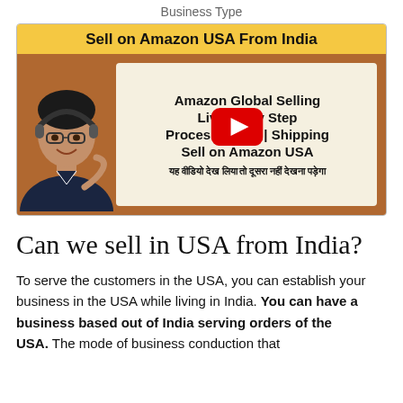Business Type
[Figure (screenshot): Video thumbnail for 'Sell on Amazon USA From India' with yellow top bar, a person wearing headphones on the left, and text overlay showing 'Amazon Global Selling Live Step by Step Process | Fees | Shipping Sell on Amazon USA' with Hindi subtitle, and a YouTube play button in the center.]
Can we sell in USA from India?
To serve the customers in the USA, you can establish your business in the USA while living in India. You can have a business based out of India serving orders of the USA. The mode of business conduction that